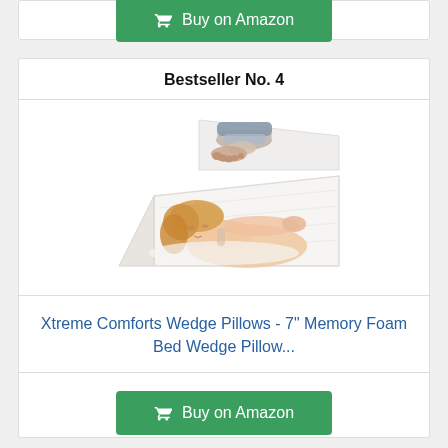[Figure (other): Buy on Amazon green button (partial, top of page)]
Bestseller No. 4
[Figure (photo): Product photo showing wedge pillow used under legs and by a sleeping woman]
Xtreme Comforts Wedge Pillows - 7" Memory Foam Bed Wedge Pillow...
[Figure (other): Buy on Amazon green button]